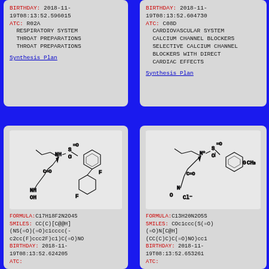BIRTHDAY: 2018-11-19T08:13:52.596015
ATC: R02A
  RESPIRATORY SYSTEM
  THROAT PREPARATIONS
  THROAT PREPARATIONS
Synthesis Plan
BIRTHDAY: 2018-11-19T08:13:52.604730
ATC: C08D
  CARDIOVASCULAR SYSTEM
  CALCIUM CHANNEL BLOCKERS
  SELECTIVE CALCIUM CHANNEL
  BLOCKERS WITH DIRECT
  CARDIAC EFFECTS
Synthesis Plan
[Figure (illustration): Chemical structure diagram of a molecule with formula C17H18F2N2O4S, showing two benzene rings (one with two fluorine substituents), a sulfonyl group (S=O), NH and OH groups, and an isobutyl chain.]
FORMULA:C17H18F2N2O4S
SMILES: CC(C)[C@@H](NS(=O)(=O)c1cccc(-c2cc(F)ccc2F)c1)C(=O)NO
BIRTHDAY: 2018-11-19T08:13:52.624205
ATC:
[Figure (illustration): Chemical structure diagram of a molecule with formula C13H20N2O5S, showing a para-methoxy benzene ring, a sulfonyl group (S=O), N+ and O groups, isobutyl chain, and a Cl- counterion.]
FORMULA:C13H20N2O5S
SMILES: COc1ccc(S(=O)(=O)N[C@H](CC(C)C)C(=O)NO)cc1
BIRTHDAY: 2018-11-19T08:13:52.653261
ATC: